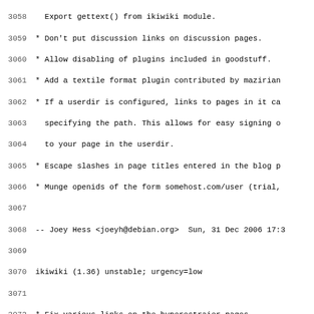Code/changelog listing lines 3058-3090 of ikiwiki debian changelog
3059  * Don't put discussion links on discussion pages.
3060  * Allow disabling of plugins included in goodstuff.
3061  * Add a textile format plugin contributed by mazirian
3062  * If a userdir is configured, links to pages in it ca
3063    specifying the path. This allows for easy signing o
3064    to your page in the userdir.
3065  * Escape slashes in page titles entered in the blog p
3066  * Munge openids of the form somehost.com/user (trial,
3068  -- Joey Hess <joeyh@debian.org>  Sun, 31 Dec 2006 17:3
3070 ikiwiki (1.36) unstable; urgency=low
3072  * Fix various links on the hyperestraier pages.
3073  * Use POST for poll to avoid some robots.
3074  * Fix sometimes broken links to Discussion pages from
3075  * Add userdir config setting.
3076  * Fix man page perms in install.
3077  * Fix an issue with inlining a page with a rss feed i
3078    page with an rss feed.
3079  * Turn $config{wiki_file_prune_regexps} into an array
3080    manipulate.
3081  * Only exclude rss and atom files from processing if
3082    is enabled and that feed type is enabled. Else it's
3083    type.
3084  * Move rss and atom option handling code into the inl
3085  * Applied a rather old patch from Recai to fix the "p
3086    issue. Now you can have wiki source directories ins
3087    like, if you want.
3088  * Patch from Emanuele Aina to fix modification time o
3089    backend.
3090  * Add support for links of the form [[/foo]].